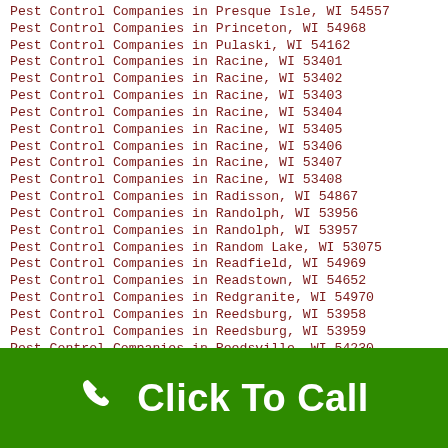Pest Control Companies in Presque Isle, WI 54557
Pest Control Companies in Princeton, WI 54968
Pest Control Companies in Pulaski, WI 54162
Pest Control Companies in Racine, WI 53401
Pest Control Companies in Racine, WI 53402
Pest Control Companies in Racine, WI 53403
Pest Control Companies in Racine, WI 53404
Pest Control Companies in Racine, WI 53405
Pest Control Companies in Racine, WI 53406
Pest Control Companies in Racine, WI 53407
Pest Control Companies in Racine, WI 53408
Pest Control Companies in Radisson, WI 54867
Pest Control Companies in Randolph, WI 53956
Pest Control Companies in Randolph, WI 53957
Pest Control Companies in Random Lake, WI 53075
Pest Control Companies in Readfield, WI 54969
Pest Control Companies in Readstown, WI 54652
Pest Control Companies in Redgranite, WI 54970
Pest Control Companies in Reedsburg, WI 53958
Pest Control Companies in Reedsburg, WI 53959
Pest Control Companies in Reedsville, WI 54230
Pest Control Companies in Reeseville, WI 53579
Pest Control Companies in Rewey, WI 53580
Pest Control Companies in Rhinelander, WI 54501
Pest Control Companies in Rib Lake, WI 54470
Pest Control Companies in Rice Lake, WI 54868
Pest Control Companies in Richfield, WI 53076
Pest Control Companies in Richland Center, WI 53581
Click To Call